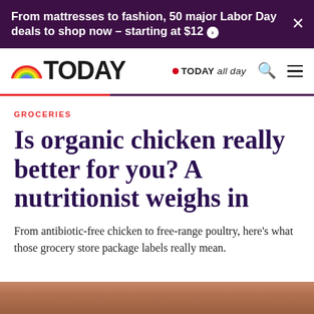From mattresses to fashion, 50 major Labor Day deals to shop now – starting at $12
[Figure (logo): TODAY show logo with rainbow arc and TODAY text]
TODAY all day
GROCERIES
Is organic chicken really better for you? A nutritionist weighs in
From antibiotic-free chicken to free-range poultry, here's what those grocery store package labels really mean.
[Figure (photo): Partial photo of chicken/poultry at bottom of page]